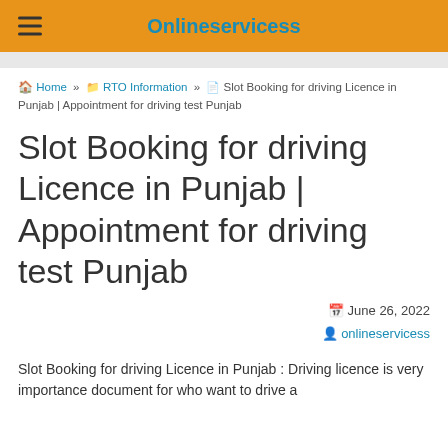Onlineservicess
Home » RTO Information » Slot Booking for driving Licence in Punjab | Appointment for driving test Punjab
Slot Booking for driving Licence in Punjab | Appointment for driving test Punjab
June 26, 2022
onlineservicess
Slot Booking for driving Licence in Punjab : Driving licence is very importance document for who want to drive a